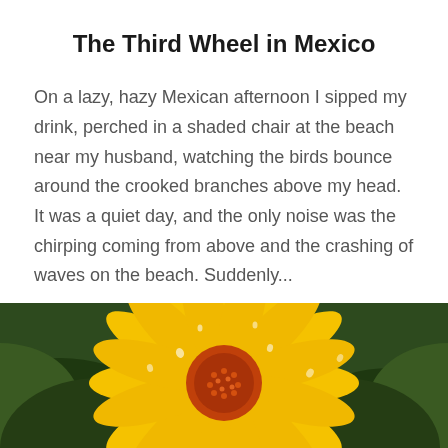The Third Wheel in Mexico
On a lazy, hazy Mexican afternoon I sipped my drink, perched in a shaded chair at the beach near my husband, watching the birds bounce around the crooked branches above my head. It was a quiet day, and the only noise was the chirping coming from above and the crashing of waves on the beach. Suddenly...
READ MORE
[Figure (photo): Close-up photograph of a yellow flower with an orange-red center, with water droplets on the petals, set against a dark green background.]